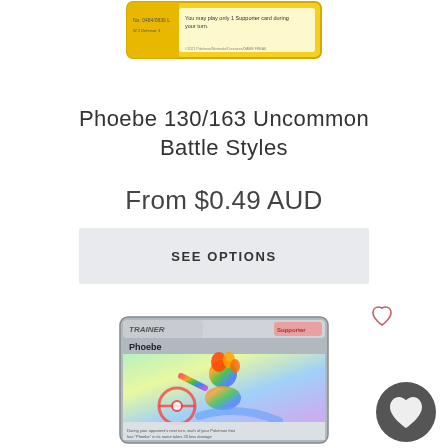[Figure (photo): Top portion of a yellow-bordered Pokémon trainer card (Phoebe) showing the card header and text area]
Phoebe 130/163 Uncommon Battle Styles
From $0.49 AUD
SEE OPTIONS
[Figure (photo): Rainbow rare Phoebe Pokémon card (Battle Styles) showing colorful artwork of the trainer character with rainbow background]